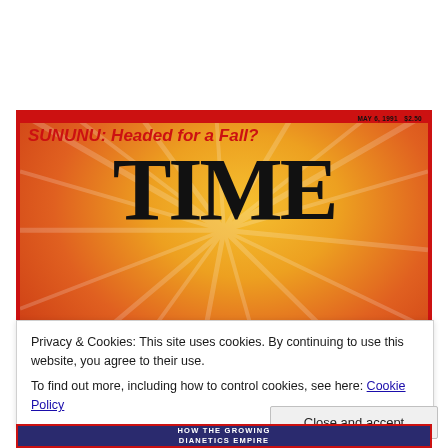[Figure (illustration): TIME magazine cover from May 6, 1991, showing the masthead 'TIME' in large black letters on an orange/red sunburst background, with 'SUNUNU: Headed for a Fall?' as a headline and 'SCIENTOLOGY' in large red text at the bottom.]
Privacy & Cookies: This site uses cookies. By continuing to use this website, you agree to their use.
To find out more, including how to control cookies, see here: Cookie Policy
Close and accept
[Figure (illustration): Bottom strip of another TIME magazine cover showing 'HOW THE GROWING DIANETICS EMPIRE' text on a dark background.]